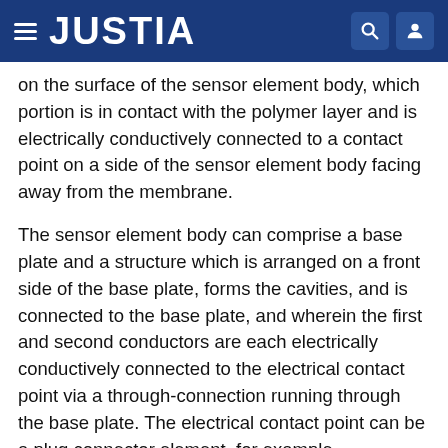JUSTIA
on the surface of the sensor element body, which portion is in contact with the polymer layer and is electrically conductively connected to a contact point on a side of the sensor element body facing away from the membrane.
The sensor element body can comprise a base plate and a structure which is arranged on a front side of the base plate, forms the cavities, and is connected to the base plate, and wherein the first and second conductors are each electrically conductively connected to the electrical contact point via a through-connection running through the base plate. The electrical contact point can be a plug connector element, for example.
The sensor element may comprise a support structure, wherein the membrane is fixed between the surface of the sensor element body and the support structure